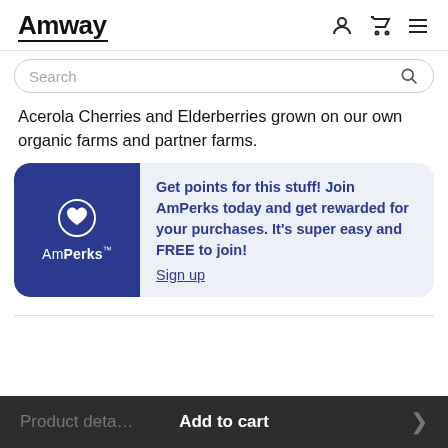Amway
Search
Acerola Cherries and Elderberries grown on our own organic farms and partner farms.
[Figure (infographic): AmPerks promotional banner with blue left panel showing AmPerks logo with heart icon, and light blue right panel with text: Get points for this stuff! Join AmPerks today and get rewarded for your purchases. It's super easy and FREE to join! Sign up]
Product details  Add to cart